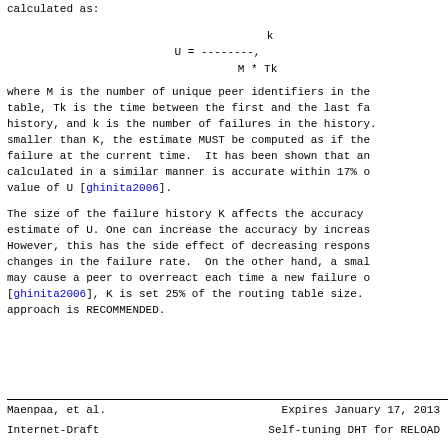calculated as:
where M is the number of unique peer identifiers in the table, Tk is the time between the first and the last fa history, and k is the number of failures in the history. smaller than K, the estimate MUST be computed as if the failure at the current time.  It has been shown that an calculated in a similar manner is accurate within 17% o value of U [ghinita2006].
The size of the failure history K affects the accuracy estimate of U. One can increase the accuracy by increas However, this has the side effect of decreasing respons changes in the failure rate.  On the other hand, a smal may cause a peer to overreact each time a new failure o [ghinita2006], K is set 25% of the routing table size. approach is RECOMMENDED.
Maenpaa, et al.        Expires January 17, 2013
Internet-Draft          Self-tuning DHT for RELOAD